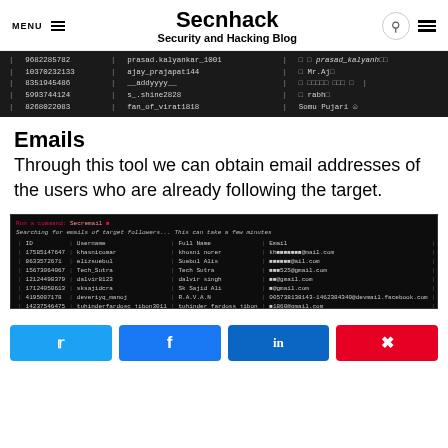MENU  Secnhack  Security and Hacking Blog
[Figure (screenshot): Terminal output showing a table with columns of phone numbers, usernames, and social media names including: 9682285782 prasad.kalyankar_1001 prasad_kalyankar, 10370232133 ajay_prajapat144 Mr.Aj, 8351945486 __addyyyy__ [encoded text], 5993744124 s_.shine2828 rabh, 8268022083 fan_of_virat1818 Somu Pujari]
Emails
Through this tool we can obtain email addresses of the users who are already following the target.
[Figure (screenshot): Terminal screenshot showing email search output. Header: 'Run a command: [secremail] -- Searching for emails of target followers... This can take a few minutes'. Table with columns ID, Username, Full Name, Email showing several rows of user data with partial email addresses.]
Twitter share  Facebook share  LinkedIn share  Pinterest share